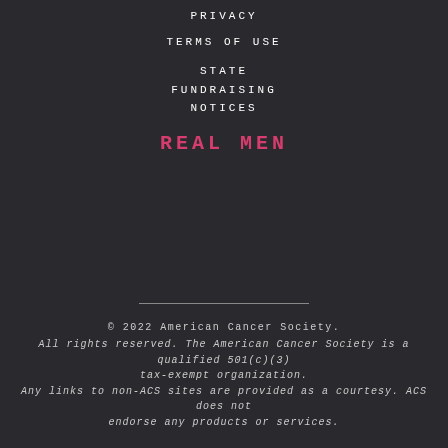PRIVACY
TERMS OF USE
STATE FUNDRAISING NOTICES
REAL MEN
© 2022 American Cancer Society. All rights reserved. The American Cancer Society is a qualified 501(c)(3) tax-exempt organization. Any links to non-ACS sites are provided as a courtesy. ACS does not endorse any products or services.